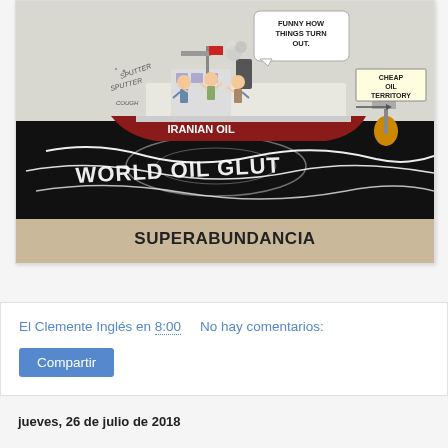[Figure (illustration): Political cartoon showing a ship labeled 'IRANIAN OIL' sailing on black water labeled 'WORLD OIL GLUT'. Three figures stand on deck with hands raised looking at a sign reading 'CHEAP OIL TERRITORY'. The ship emits 'SPUTTER SPUTTER COUGH' sounds. Speech bubble says 'FUNNY HOW THINGS TURN OUT.']
SUPERABUNDANCIA
El Clemente Inglés en 8:00     No hay comentarios:
Compartir
jueves, 26 de julio de 2018